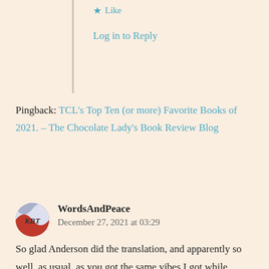★ Like
Log in to Reply
Pingback:  TCL's Top Ten (or more) Favorite Books of 2021. – The Chocolate Lady's Book Review Blog
WordsAndPeace
December 27, 2021 at 03:29
So glad Anderson did the translation, and apparently so well, as usual, as you got the same vibes I got while listening to the book in French. I have always wanted to go to